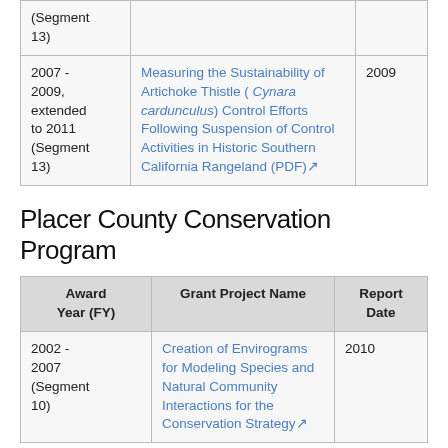| Award Year (FY) | Grant Project Name | Report Date |
| --- | --- | --- |
| (Segment 13) |  |  |
| 2007 - 2009, extended to 2011 (Segment 13) | Measuring the Sustainability of Artichoke Thistle ( Cynara cardunculus) Control Efforts Following Suspension of Control Activities in Historic Southern California Rangeland (PDF) | 2009 |
Placer County Conservation Program
| Award Year (FY) | Grant Project Name | Report Date |
| --- | --- | --- |
| 2002 - 2007 (Segment 10) | Creation of Envirograms for Modeling Species and Natural Community Interactions for the Conservation Strategy | 2010 |